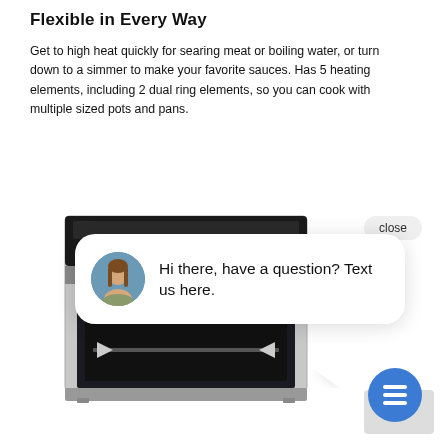Flexible in Every Way
Get to high heat quickly for searing meat or boiling water, or turn down to a simmer to make your favorite sauces. Has 5 heating elements, including 2 dual ring elements, so you can cook with multiple sized pots and pans.
[Figure (photo): Photo of a stainless steel electric range/oven with black glass cooktop, knobs, and open oven door showing interior rack.]
[Figure (screenshot): Chat widget popup with a close button, a circular avatar photo of a woman with brown hair, and text saying 'Hi there, have a question? Text us here.' A blue circular chat FAB icon is in the bottom right.]